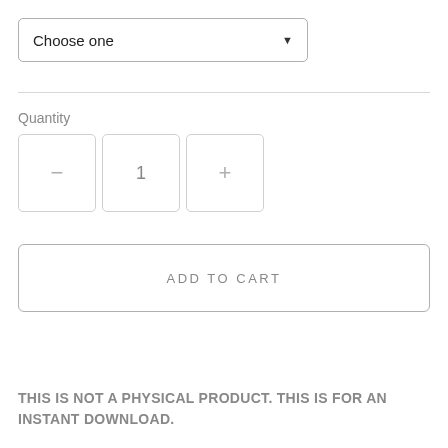[Figure (screenshot): Dropdown selector UI element with 'Choose one' placeholder text and a downward arrow]
Quantity
[Figure (screenshot): Quantity selector UI with minus button, value '1', and plus button]
[Figure (screenshot): ADD TO CART button with border]
THIS IS NOT A PHYSICAL PRODUCT. THIS IS FOR AN INSTANT DOWNLOAD.